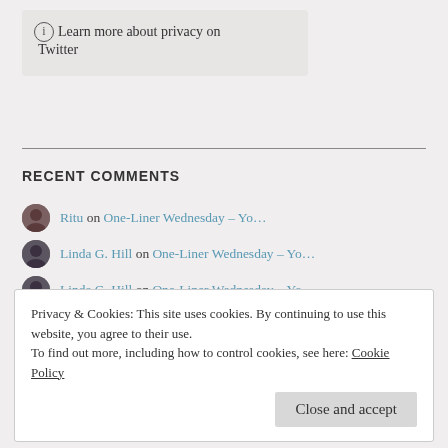ⓘ Learn more about privacy on Twitter
RECENT COMMENTS
Ritu on One-Liner Wednesday – Yo…
Linda G. Hill on One-Liner Wednesday – Yo…
Linda G. Hill on One-Liner Wednesday – Yo…
Linda G. Hill on One-Liner Wednesday – Yo…
Linda G. Hill on One-Liner Wednesday – Yo…
Privacy & Cookies: This site uses cookies. By continuing to use this website, you agree to their use. To find out more, including how to control cookies, see here: Cookie Policy
Close and accept